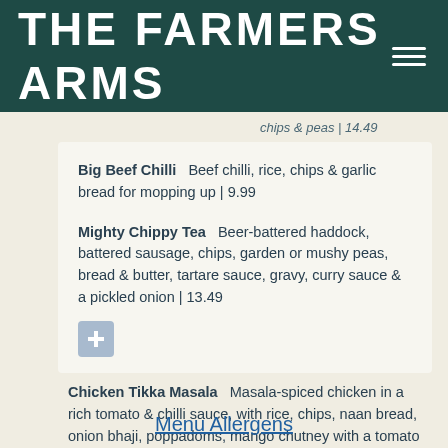THE FARMERS ARMS
chips & peas | 14.49
Big Beef Chilli  Beef chilli, rice, chips & garlic bread for mopping up | 9.99
Mighty Chippy Tea  Beer-battered haddock, battered sausage, chips, garden or mushy peas, bread & butter, tartare sauce, gravy, curry sauce & a pickled onion | 13.49
Chicken Tikka Masala  Masala-spiced chicken in a rich tomato & chilli sauce, with rice, chips, naan bread, onion bhaji, poppadoms, mango chutney with a tomato & onion salad | 9.99
Menu Allergens